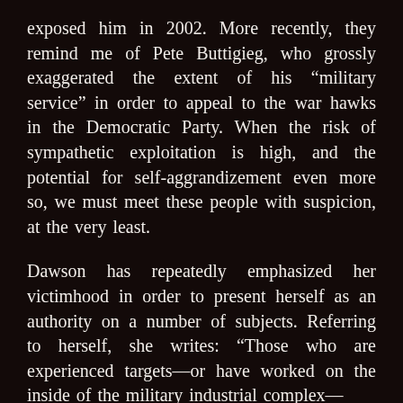exposed him in 2002. More recently, they remind me of Pete Buttigieg, who grossly exaggerated the extent of his “military service” in order to appeal to the war hawks in the Democratic Party. When the risk of sympathetic exploitation is high, and the potential for self-aggrandizement even more so, we must meet these people with suspicion, at the very least.
Dawson has repeatedly emphasized her victimhood in order to present herself as an authority on a number of subjects. Referring to herself, she writes: “Those who are experienced targets—or have worked on the inside of the military industrial complex—